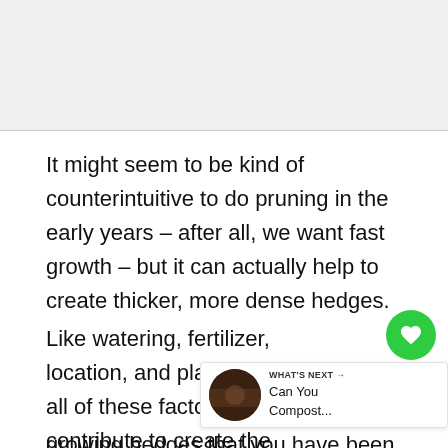[Figure (photo): Gray placeholder image area at the top of the page]
It might seem to be kind of counterintuitive to do pruning in the early years – after all, we want fast growth – but it can actually help to create thicker, more dense hedges.
Like watering, fertilizer, location, and planting time, all of these factors contribute to create the perfect fa... growing hedges that you have been
WHAT'S NEXT → Can You Compost...